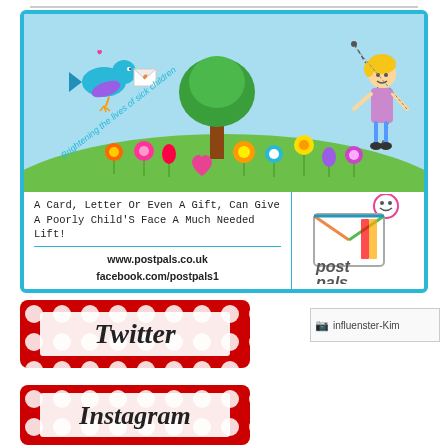[Figure (illustration): Post Pals charity advertisement card with sky blue border. Top section shows illustrated children's scene: blue bird holding envelope, green tree, flowers, and cartoon child with kite on a green hill with blue sky. Text 'Brightening the lives of sick children' is written in curved script. Bottom section has tagline 'A Card, Letter Or Even A Gift, Can Give A Poorly Child'S Face A Much Needed Lift!' and URLs: www.postpals.co.uk, facebook.com/postpals1, twitter.com/postpals. Right side shows Post Pals logo with envelope graphic.]
[Figure (logo): Twitter badge: red polka-dot border rectangle with 'Twitter' text in bold black font on light background]
[Figure (logo): Influenster-Kim image placeholder (broken image icon with alt text 'influenster-Kim')]
[Figure (logo): Instagram badge: red polka-dot border rectangle with 'Instagram' text in bold black font on light background, partially visible]